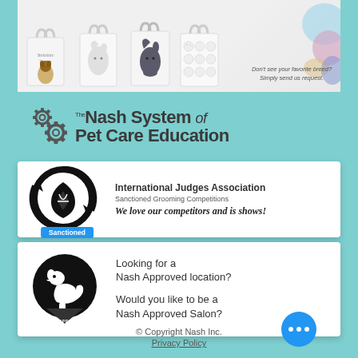[Figure (illustration): Top banner showing tote bags with pet/animal designs (Yorkshire Terrier, horse, cat, bird patterns) against a light background. Text reads: Don't see your favorite breed? Simply send us request.]
[Figure (logo): The Nash System of Pet Care Education logo with gear icons and bold text]
[Figure (logo): International Judges Association logo - circular black graphic with arrows. Blue Sanctioned badge overlaid. Text: International Judges Association, Sanctioned Grooming Competitions, We love our competitors and is shows!]
[Figure (logo): Nash Approved circular logo - black circle with grooming dog silhouette. Text: Looking for a Nash Approved location? Would you like to be a Nash Approved Salon?]
© Copyright Nash Inc.
Privacy Policy